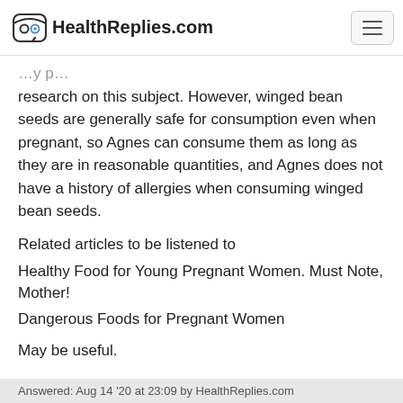HealthReplies.com
research on this subject. However, winged bean seeds are generally safe for consumption even when pregnant, so Agnes can consume them as long as they are in reasonable quantities, and Agnes does not have a history of allergies when consuming winged bean seeds.
Related articles to be listened to
Healthy Food for Young Pregnant Women. Must Note, Mother!
Dangerous Foods for Pregnant Women
May be useful.
Answered: Aug 14 '20 at 23:09 by HealthReplies.com